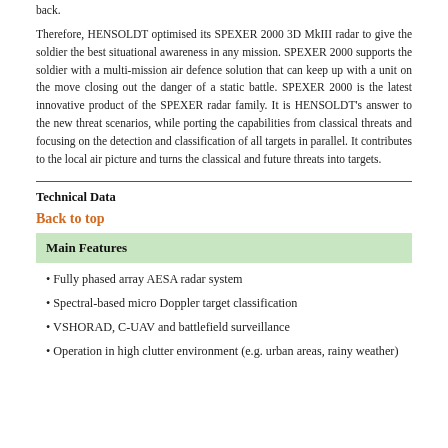back.
Therefore, HENSOLDT optimised its SPEXER 2000 3D MkIII radar to give the soldier the best situational awareness in any mission. SPEXER 2000 supports the soldier with a multi-mission air defence solution that can keep up with a unit on the move closing out the danger of a static battle. SPEXER 2000 is the latest innovative product of the SPEXER radar family. It is HENSOLDT’s answer to the new threat scenarios, while porting the capabilities from classical threats and focusing on the detection and classification of all targets in parallel. It contributes to the local air picture and turns the classical and future threats into targets.
Technical Data
Back to top
Main Features
Fully phased array AESA radar system
Spectral-based micro Doppler target classification
VSHORAD, C-UAV and battlefield surveillance
Operation in high clutter environment (e.g. urban areas, rainy weather)